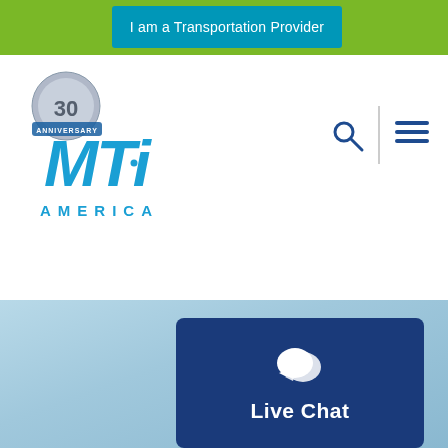I am a Transportation Provider
[Figure (logo): MTI America 30th Anniversary logo — blue stylized MTI text with silver 30 anniversary badge and AMERICA text beneath]
[Figure (infographic): Search icon (magnifying glass) in dark blue]
[Figure (infographic): Hamburger menu icon — three horizontal dark blue lines]
[Figure (infographic): Live Chat card with chat bubble icon on blue background, text: Live Chat]